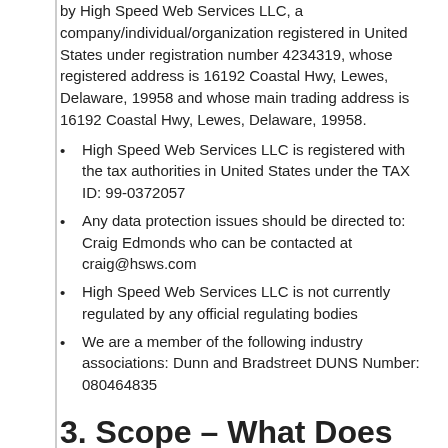by High Speed Web Services LLC, a company/individual/organization registered in United States under registration number 4234319, whose registered address is 16192 Coastal Hwy, Lewes, Delaware, 19958 and whose main trading address is 16192 Coastal Hwy, Lewes, Delaware, 19958.
High Speed Web Services LLC is registered with the tax authorities in United States under the TAX ID: 99-0372057
Any data protection issues should be directed to: Craig Edmonds who can be contacted at craig@hsws.com
High Speed Web Services LLC is not currently regulated by any official regulating bodies
We are a member of the following industry associations: Dunn and Bradstreet DUNS Number: 080464835
3. Scope – What Does This Policy Cover?